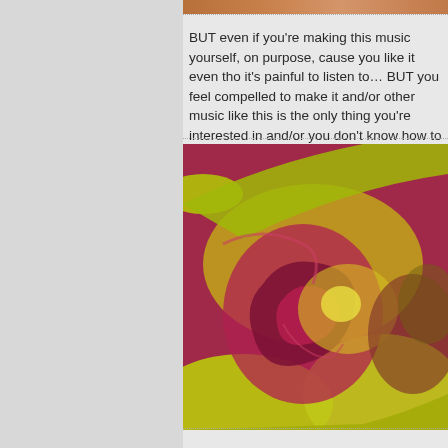[Figure (photo): Narrow strip of a photo at the top, showing warm orange-brown tones]
BUT even if you're making this music yourself, on purpose, cause you like it even tho it's painful to listen to… BUT you feel compelled to make it and/or other music like this is the only thing you're interested in and/or you don't know how to make any
[Figure (photo): Close-up abstract photograph showing swirling patterns of yellow-green and deep pink/magenta colors, resembling mixed paint or fluid art with organic flowing shapes]